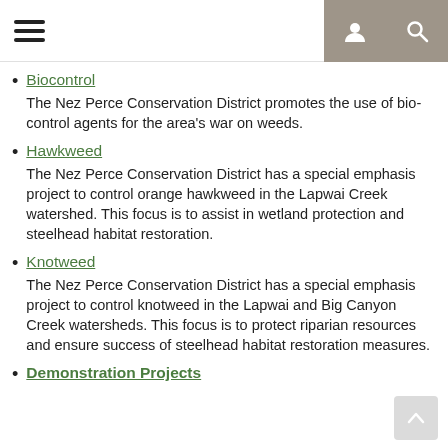Navigation header with hamburger menu and user/search icons
Biocontrol
The Nez Perce Conservation District promotes the use of bio-control agents for the area's war on weeds.
Hawkweed
The Nez Perce Conservation District has a special emphasis project to control orange hawkweed in the Lapwai Creek watershed. This focus is to assist in wetland protection and steelhead habitat restoration.
Knotweed
The Nez Perce Conservation District has a special emphasis project to control knotweed in the Lapwai and Big Canyon Creek watersheds. This focus is to protect riparian resources and ensure success of steelhead habitat restoration measures.
Demonstration Projects